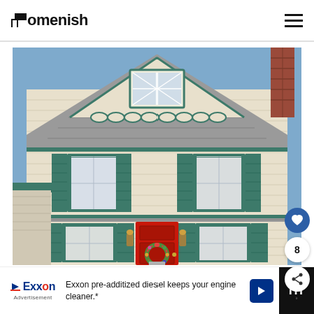Homenish
[Figure (photo): Exterior of a two-story house with cream/beige horizontal siding, dark green shutters on multiple windows, a red front door with a wreath, and a gabled roof with decorative shingles. A small dormer window with diamond-pane glass is at the top center. A brick chimney is visible on the right side.]
Exxon pre-additized diesel keeps your engine cleaner.*